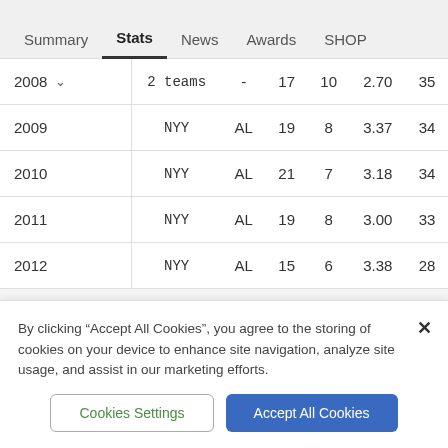Summary | Stats | News | Awards | SHOP
| Year | Team | Lg | W | L | ERA | GS |
| --- | --- | --- | --- | --- | --- | --- |
| 2008 | 2 teams | - | 17 | 10 | 2.70 | 35 |
| 2009 | NYY | AL | 19 | 8 | 3.37 | 34 |
| 2010 | NYY | AL | 21 | 7 | 3.18 | 34 |
| 2011 | NYY | AL | 19 | 8 | 3.00 | 33 |
| 2012 | NYY | AL | 15 | 6 | 3.38 | 28 |
By clicking "Accept All Cookies", you agree to the storing of cookies on your device to enhance site navigation, analyze site usage, and assist in our marketing efforts.